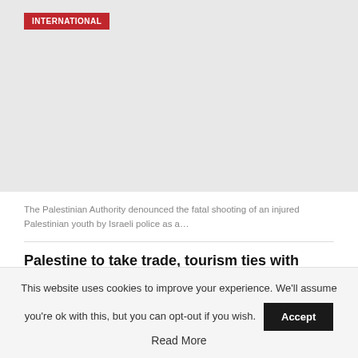[Figure (photo): Placeholder image for international news article with red 'INTERNATIONAL' label badge in top-left corner]
The Palestinian Authority denounced the fatal shooting of an injured Palestinian youth by Israeli police as a…
Palestine to take trade, tourism ties with Pakistan to optimum
This website uses cookies to improve your experience. We'll assume you're ok with this, but you can opt-out if you wish. Accept Read More